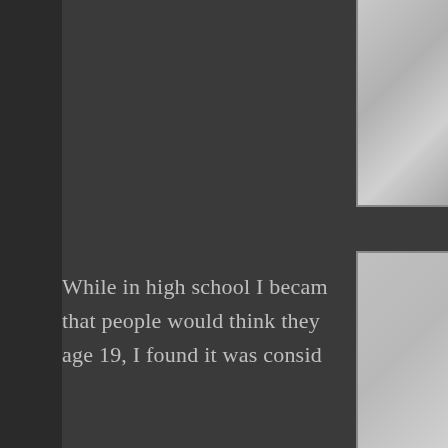[Figure (photo): Partial photo visible in top-right corner of page, grayscale]
While in high school I becam that people would think they age 19, I found it was consid
[Figure (photo): Partial photo visible in bottom-right corner of page, grayscale]